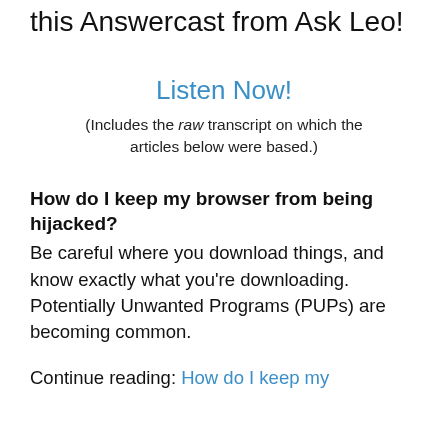this Answercast from Ask Leo!
Listen Now!
(Includes the raw transcript on which the articles below were based.)
How do I keep my browser from being hijacked?
Be careful where you download things, and know exactly what you're downloading. Potentially Unwanted Programs (PUPs) are becoming common.
Continue reading: How do I keep my